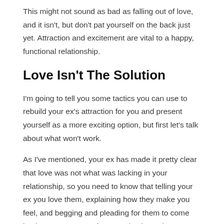This might not sound as bad as falling out of love, and it isn't, but don't pat yourself on the back just yet. Attraction and excitement are vital to a happy, functional relationship.
Love Isn't The Solution
I'm going to tell you some tactics you can use to rebuild your ex's attraction for you and present yourself as a more exciting option, but first let's talk about what won't work.
As I've mentioned, your ex has made it pretty clear that love was not what was lacking in your relationship, so you need to know that telling your ex you love them, explaining how they make you feel, and begging and pleading for them to come back to you, aren't going to make them change their mind about the breakup.